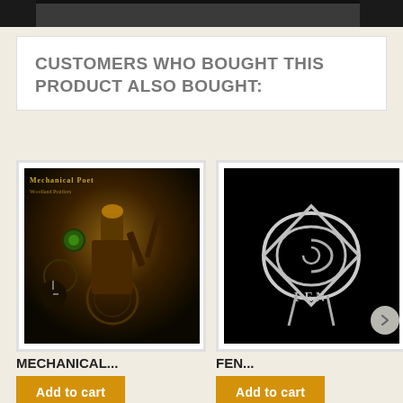[Figure (photo): Top image strip, dark textured background]
CUSTOMERS WHO BOUGHT THIS PRODUCT ALSO BOUGHT:
[Figure (photo): Mechanical Poet - Woodland Prattlers album cover, steampunk illustration with clock, machinery, and character in workshop]
MECHANICAL...
Add to cart
[Figure (photo): Fen - album cover, white spiral/rune symbol on black background with FEN text]
FEN...
Add to cart
[Figure (photo): Third album - partial view, light tan/beige colored cover with dark vertical element]
TH
A